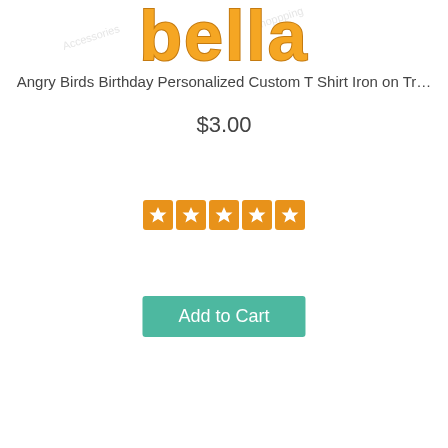[Figure (logo): Bella logo in orange/yellow bubble letters with watermark overlay]
Angry Birds Birthday Personalized Custom T Shirt Iron on Tr…
$3.00
[Figure (other): Add to Cart button (teal/green background, white text)]
[Figure (other): Five orange star rating boxes]